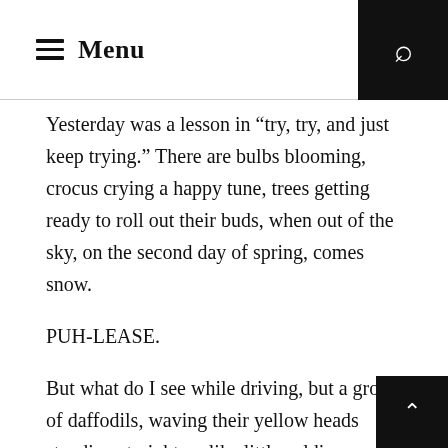Menu
Yesterday was a lesson in “try, try, and just keep trying.” There are bulbs blooming, crocus crying a happy tune, trees getting ready to roll out their buds, when out of the sky, on the second day of spring, comes snow.
PUH-LEASE.
But what do I see while driving, but a group of daffodils, waving their yellow heads standing straight up like little soldiers, telling that snow they will NOT BE DENIED.
And that’s the deal, no matter what, you just have to keep growing, even in the snow, even when the conditions not ideal, you just have to  lift your face to the sun and